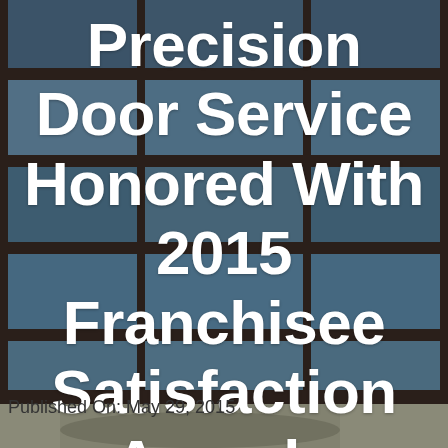[Figure (photo): Background photo of a dark navy/slate colored garage door with rectangular glass panel inserts, showing a building exterior. The door panels have a grid-like structure with horizontal sections and inset windows.]
Precision Door Service Honored With 2015 Franchisee Satisfaction Awards
Published On: May 29, 2015